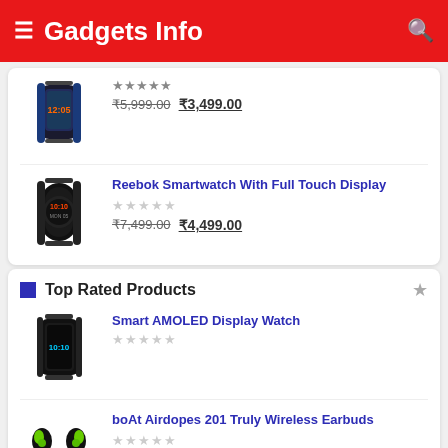Gadgets Info
₹5,999.00 ₹3,499.00
Reebok Smartwatch With Full Touch Display
₹7,499.00 ₹4,499.00
Top Rated Products
Smart AMOLED Display Watch
boAt Airdopes 201 Truly Wireless Earbuds
Best wireless headphones with mic in India 2021